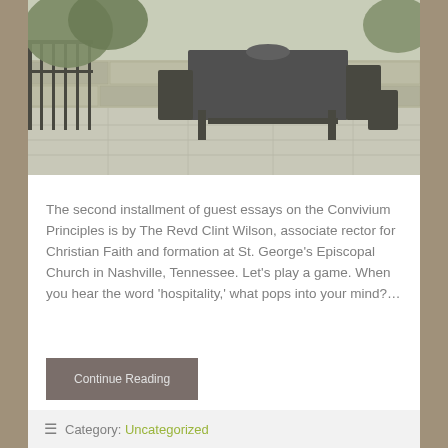[Figure (photo): Outdoor patio scene with black metal table and chairs on stone pavement, with iron railing and stone wall in background, surrounded by greenery.]
The second installment of guest essays on the Convivium Principles is by The Revd Clint Wilson, associate rector for Christian Faith and formation at St. George's Episcopal Church in Nashville, Tennessee. Let's play a game. When you hear the word 'hospitality,' what pops into your mind?…
Continue Reading
Category: Uncategorized